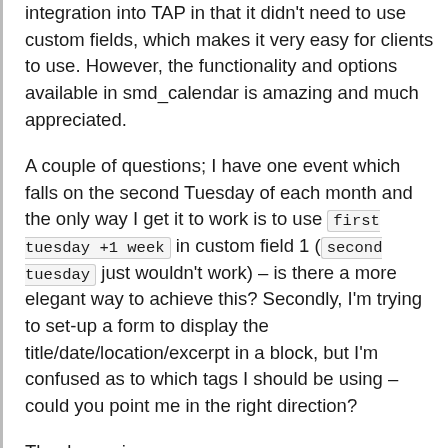integration into TAP in that it didn't need to use custom fields, which makes it very easy for clients to use. However, the functionality and options available in smd_calendar is amazing and much appreciated.
A couple of questions; I have one event which falls on the second Tuesday of each month and the only way I get it to work is to use first tuesday +1 week in custom field 1 (second tuesday just wouldn't work) – is there a more elegant way to achieve this? Secondly, I'm trying to set-up a form to display the title/date/location/excerpt in a block, but I'm confused as to which tags I should be using – could you point me in the right direction?
Thanks again.